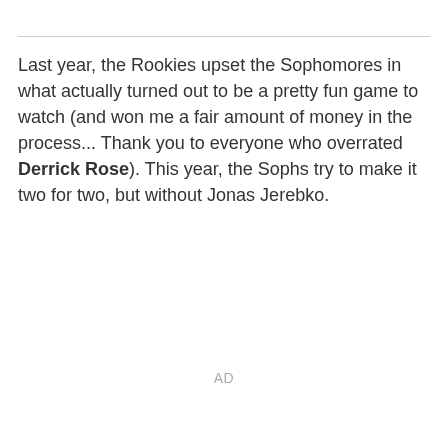Last year, the Rookies upset the Sophomores in what actually turned out to be a pretty fun game to watch (and won me a fair amount of money in the process... Thank you to everyone who overrated Derrick Rose). This year, the Sophs try to make it two for two, but without Jonas Jerebko.
AD